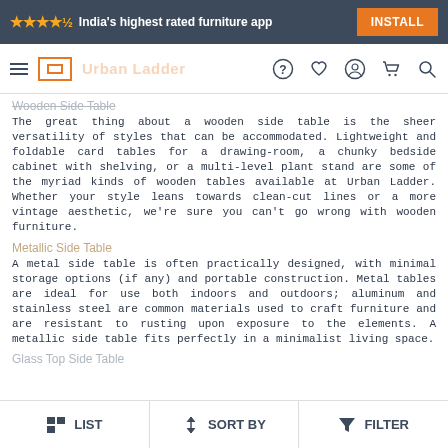★★★★½ India's highest rated furniture app  INSTALL
[Figure (screenshot): Navigation bar with hamburger menu, Urban Ladder logo, and icons for help, wishlist, account, cart, search]
Wooden Side Table
The great thing about a wooden side table is the sheer versatility of styles that can be accommodated. Lightweight and foldable card tables for a drawing-room, a chunky bedside cabinet with shelving, or a multi-level plant stand are some of the myriad kinds of wooden tables available at Urban Ladder. Whether your style leans towards clean-cut lines or a more vintage aesthetic, we're sure you can't go wrong with wooden furniture.
Metallic Side Table
A metal side table is often practically designed, with minimal storage options (if any) and portable construction. Metal tables are ideal for use both indoors and outdoors; aluminum and stainless steel are common materials used to craft furniture and are resistant to rusting upon exposure to the elements. A metallic side table fits perfectly in a minimalist living space.
Glass Top Side Table
LIST   SORT BY   FILTER